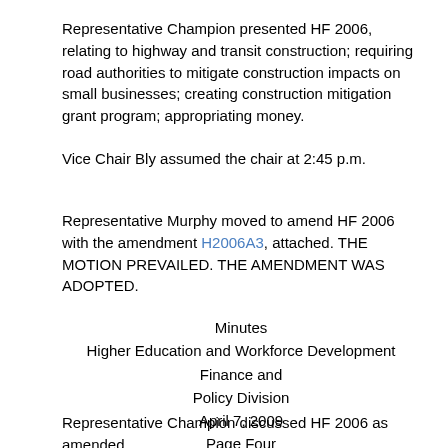Representative Champion presented HF 2006, relating to highway and transit construction; requiring road authorities to mitigate construction impacts on small businesses; creating construction mitigation grant program; appropriating money.
Vice Chair Bly assumed the chair at 2:45 p.m.
Representative Murphy moved to amend HF 2006 with the amendment H2006A3, attached. THE MOTION PREVAILED. THE AMENDMENT WAS ADOPTED.
Minutes
Higher Education and Workforce Development Finance and Policy Division
April 7, 2009
Page Four
Representative Champion discussed HF 2006 as amended.